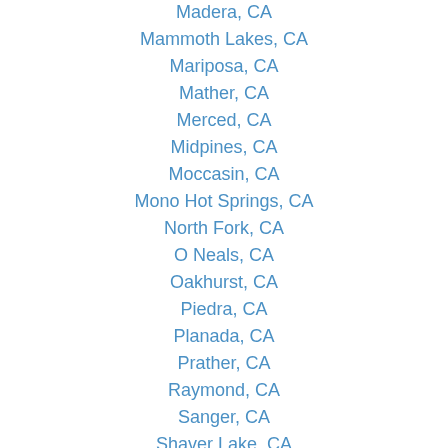Madera, CA
Mammoth Lakes, CA
Mariposa, CA
Mather, CA
Merced, CA
Midpines, CA
Moccasin, CA
Mono Hot Springs, CA
North Fork, CA
O Neals, CA
Oakhurst, CA
Piedra, CA
Planada, CA
Prather, CA
Raymond, CA
Sanger, CA
Shaver Lake, CA
Snelling, CA
Tollhouse, CA